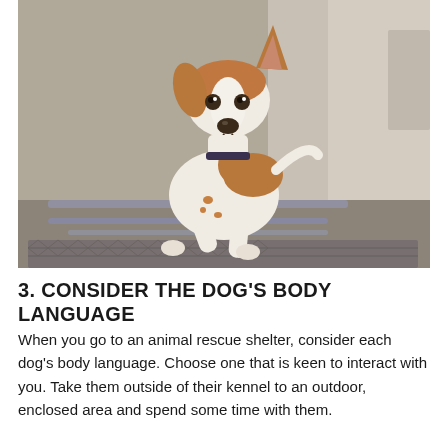[Figure (photo): A brown and white puppy with floppy ears stands leaning forward with paws on a metal fence or gate inside what appears to be an animal shelter or kennel, with a concrete wall in the background.]
3. CONSIDER THE DOG'S BODY LANGUAGE
When you go to an animal rescue shelter, consider each dog's body language. Choose one that is keen to interact with you. Take them outside of their kennel to an outdoor, enclosed area and spend some time with them.